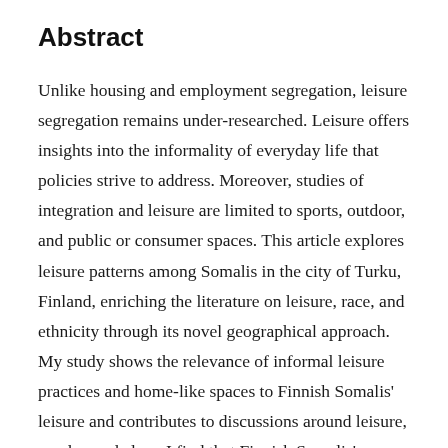Abstract
Unlike housing and employment segregation, leisure segregation remains under-researched. Leisure offers insights into the informality of everyday life that policies strive to address. Moreover, studies of integration and leisure are limited to sports, outdoor, and public or consumer spaces. This article explores leisure patterns among Somalis in the city of Turku, Finland, enriching the literature on leisure, race, and ethnicity through its novel geographical approach. My study shows the relevance of informal leisure practices and home-like spaces to Finnish Somalis' leisure and contributes to discussions around leisure, gender, and class. I find that Finnish Somalis' age, time of migration, and power relations shape leisure